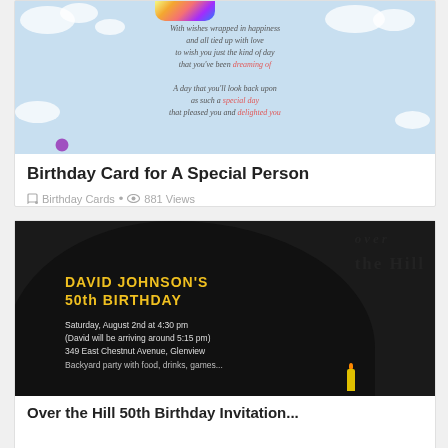[Figure (photo): Birthday card for a special person with watercolor cloud background and handwritten-style poem text]
Birthday Card for A Special Person
Birthday Cards • 881 Views
[Figure (photo): Over the Hill 50th Birthday Invitation card with black hill silhouette, yellow bold text DAVID JOHNSON'S 50th BIRTHDAY, and event details: Saturday, August 2nd at 4:30 pm (David will be arriving around 5:15 pm) 349 East Chestnut Avenue, Glenview]
Over the Hill 50th Birthday Invitation